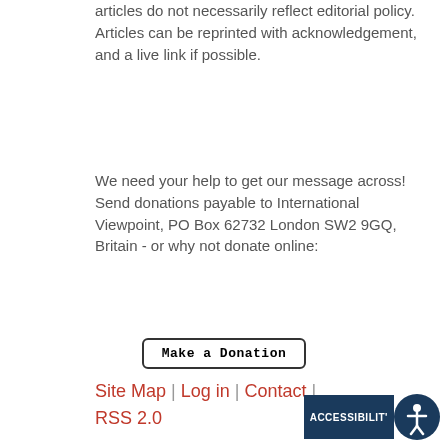articles do not necessarily reflect editorial policy. Articles can be reprinted with acknowledgement, and a live link if possible.
We need your help to get our message across! Send donations payable to International Viewpoint, PO Box 62732 London SW2 9GQ, Britain - or why not donate online:
[Figure (other): Make a Donation button with rounded rectangle border]
Site Map | Log in | Contact | RSS 2.0
[Figure (other): Accessibility icon badge with dark blue background and person icon]